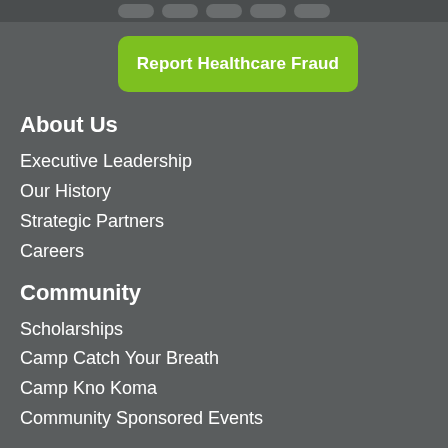[Figure (other): Top navigation bar with pill-shaped button icons on dark background]
Report Healthcare Fraud
About Us
Executive Leadership
Our History
Strategic Partners
Careers
Community
Scholarships
Camp Catch Your Breath
Camp Kno Koma
Community Sponsored Events
Newsroom
Press Kit